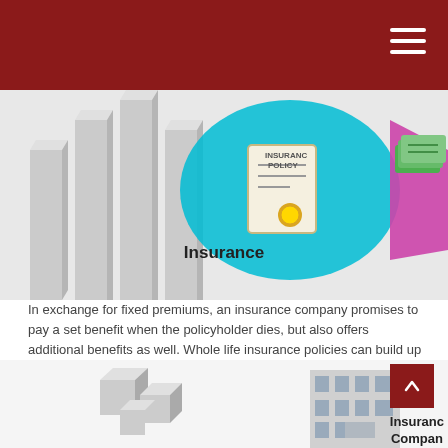[Figure (illustration): Insurance concept illustration showing 3D bar chart columns on left, a cyan speech bubble with an insurance policy document and gold seal in center, and a pink/magenta speech bubble with cash money on right.]
Insurance
In exchange for fixed premiums, an insurance company promises to pay a set benefit when the policyholder dies, but also offers additional benefits as well. Whole life insurance policies can build up cash value — effectively a cash reserve that pays a modest rate of return, and the growth is tax-deferred. Guarantees are based on the claims-paying ability of the issuing company.
[Figure (illustration): Bottom illustration showing 3D gray cube blocks on left and a building/office structure in center-right.]
Insurance Company